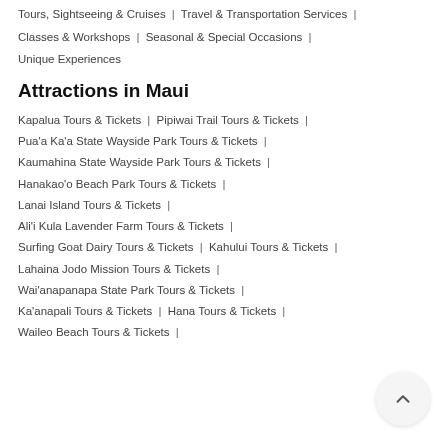Tours, Sightseeing & Cruises | Travel & Transportation Services |
Classes & Workshops | Seasonal & Special Occasions | Unique Experiences
Attractions in Maui
Kapalua Tours & Tickets | Pipiwai Trail Tours & Tickets |
Pua'a Ka'a State Wayside Park Tours & Tickets |
Kaumahina State Wayside Park Tours & Tickets |
Hanakao'o Beach Park Tours & Tickets |
Lanai Island Tours & Tickets |
Ali'i Kula Lavender Farm Tours & Tickets |
Surfing Goat Dairy Tours & Tickets | Kahului Tours & Tickets |
Lahaina Jodo Mission Tours & Tickets |
Wai'anapanapa State Park Tours & Tickets |
Ka'anapali Tours & Tickets | Hana Tours & Tickets |
Waileo Beach Tours & Tickets |